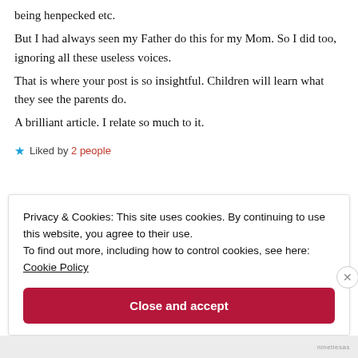being henpecked etc.
But I had always seen my Father do this for my Mom. So I did too, ignoring all these useless voices.
That is where your post is so insightful. Children will learn what they see the parents do.
A brilliant article. I relate so much to it.
★ Liked by 2 people
Privacy & Cookies: This site uses cookies. By continuing to use this website, you agree to their use.
To find out more, including how to control cookies, see here: Cookie Policy
Close and accept